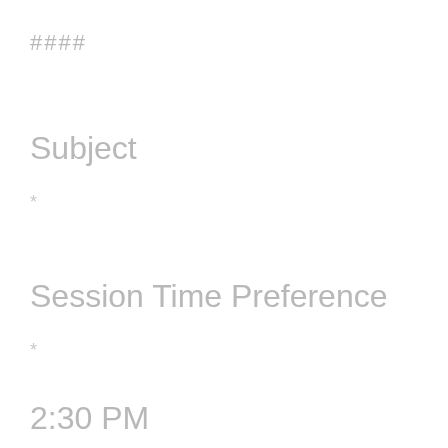####
Subject
*
Session Time Preference
*
2:30 PM